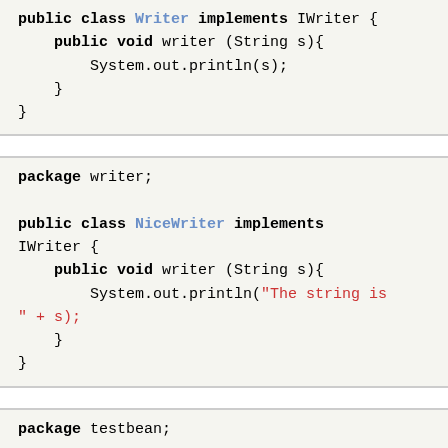public class Writer implements IWriter {
    public void writer (String s){
        System.out.println(s);
    }
}
package writer;

public class NiceWriter implements IWriter {
    public void writer (String s){
        System.out.println("The string is " + s);
    }
}
package testbean;